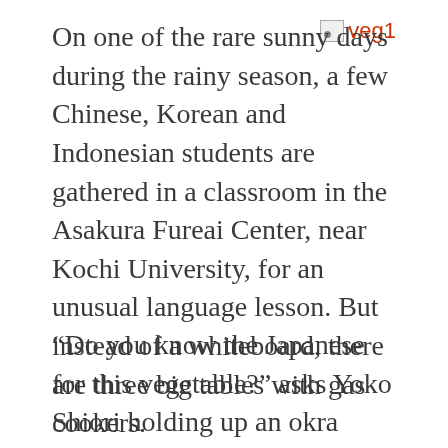[Figure (other): Broken image placeholder with red alt text 'veg1']
On one of the rare sunny days during the rainy season, a few Chinese, Korean and Indonesian students are gathered in a classroom in the Asakura Fureai Center, near Kochi University, for an unusual language lesson. But instead of a whiteboard, there are three big tables with gas cookers.
“Do you know the Japanese for this vegetable?” asks Yoko Shiori holding up an okra which is edible green seed pods. “I will teach you.”